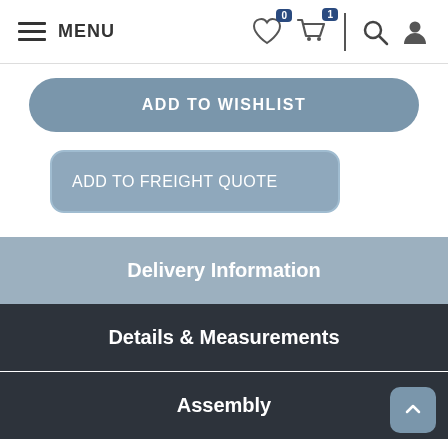MENU
ADD TO WISHLIST
ADD TO FREIGHT QUOTE
Delivery Information
Details & Measurements
Assembly